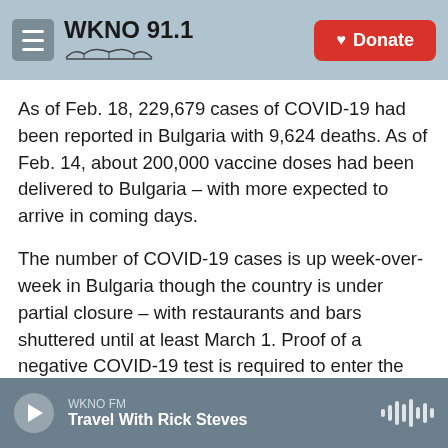WKNO 91.1 | Donate
As of Feb. 18, 229,679 cases of COVID-19 had been reported in Bulgaria with 9,624 deaths. As of Feb. 14, about 200,000 vaccine doses had been delivered to Bulgaria – with more expected to arrive in coming days.
The number of COVID-19 cases is up week-over-week in Bulgaria though the country is under partial closure – with restaurants and bars shuttered until at least March 1. Proof of a negative COVID-19 test is required to enter the country until at least April 30.
WKNO FM | Travel With Rick Steves